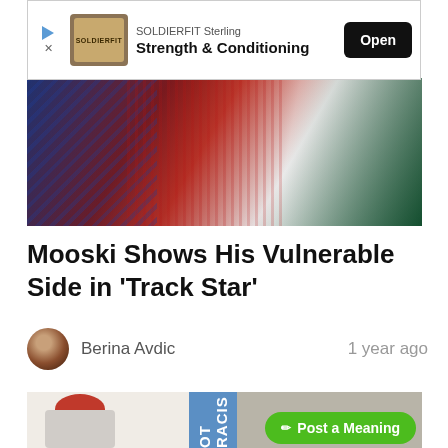[Figure (screenshot): Advertisement banner: SOLDIERFIT Sterling Strength & Conditioning with Open button]
[Figure (photo): Top partial image showing people in colorful clothing]
Mooski Shows His Vulnerable Side in 'Track Star'
Berina Avdic   1 year ago
[Figure (photo): Bottom image from music video showing a man in red cap seated on left, vertical banner reading 'NOT RACIST' in center, another person on right. Green 'Post a Meaning' button overlay.]